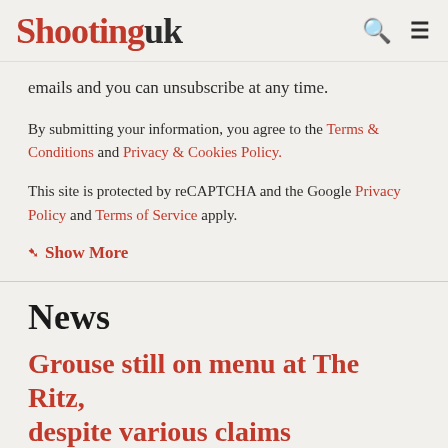Shooting uk
emails and you can unsubscribe at any time.
By submitting your information, you agree to the Terms & Conditions and Privacy & Cookies Policy.
This site is protected by reCAPTCHA and the Google Privacy Policy and Terms of Service apply.
Show More
News
Grouse still on menu at The Ritz, despite various claims
The claim that The Ritz had